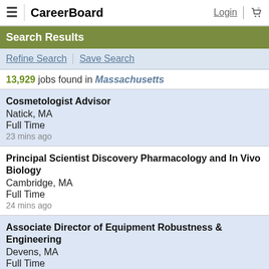CareerBoard — Login — Cart (0)
Search Results
Refine Search | Save Search
13,929 jobs found in Massachusetts
Cosmetologist Advisor
Natick, MA
Full Time
23 mins ago
Principal Scientist Discovery Pharmacology and In Vivo Biology
Cambridge, MA
Full Time
24 mins ago
Associate Director of Equipment Robustness & Engineering
Devens, MA
Full Time
24 mins ago
Physician - Trauma Surgery - Orthopedic Trauma Surgeon
Boston, MA